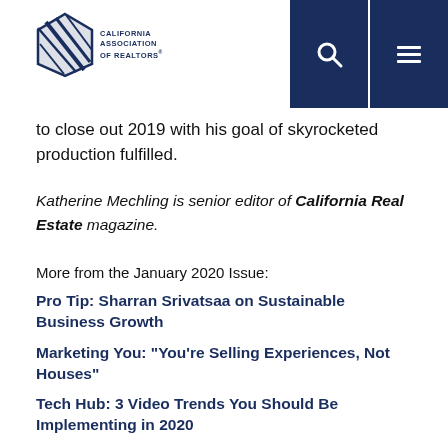California Association of Realtors
to close out 2019 with his goal of skyrocketed production fulfilled.
Katherine Mechling is senior editor of California Real Estate magazine.
More from the January 2020 Issue:
Pro Tip: Sharran Srivatsaa on Sustainable Business Growth
Marketing You: "You're Selling Experiences, Not Houses"
Tech Hub: 3 Video Trends You Should Be Implementing in 2020
Getting Clients: New Year, New Lead Gen